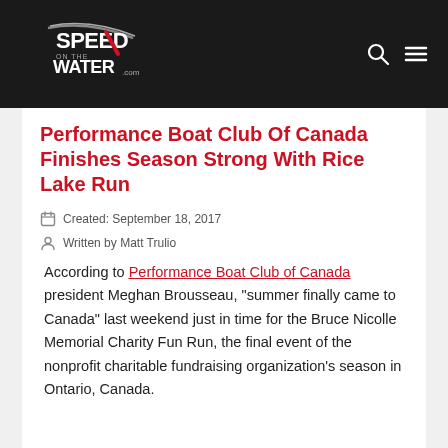Speed On The Water .com
Performance Boat Club Of Canada Finishes Season Strong With Rice Lake Run
Created: September 18, 2017
Written by Matt Trulio
According to Performance Boat Club of Canada president Meghan Brousseau, “summer finally came to Canada” last weekend just in time for the Bruce Nicolle Memorial Charity Fun Run, the final event of the nonprofit charitable fundraising organization’s season in Ontario, Canada.